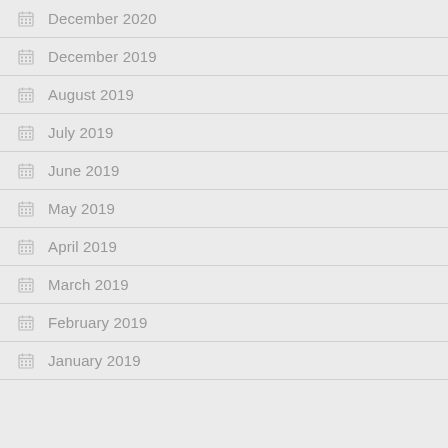December 2020
December 2019
August 2019
July 2019
June 2019
May 2019
April 2019
March 2019
February 2019
January 2019